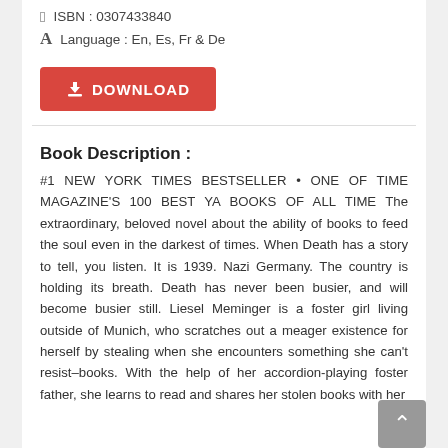ISBN : 0307433840
Language : En, Es, Fr & De
[Figure (other): Red download button with download icon and text DOWNLOAD]
Book Description :
#1 NEW YORK TIMES BESTSELLER • ONE OF TIME MAGAZINE'S 100 BEST YA BOOKS OF ALL TIME The extraordinary, beloved novel about the ability of books to feed the soul even in the darkest of times. When Death has a story to tell, you listen. It is 1939. Nazi Germany. The country is holding its breath. Death has never been busier, and will become busier still. Liesel Meminger is a foster girl living outside of Munich, who scratches out a meager existence for herself by stealing when she encounters something she can't resist–books. With the help of her accordion-playing foster father, she learns to read and shares her stolen books with her